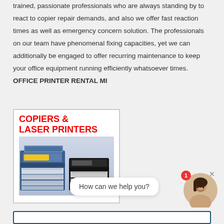trained, passionate professionals who are always standing by to react to copier repair demands, and also we offer fast reaction times as well as emergency concern solution. The professionals on our team have phenomenal fixing capacities, yet we can additionally be engaged to offer recurring maintenance to keep your office equipment running efficiently whatsoever times. OFFICE PRINTER RENTAL MI
[Figure (illustration): Advertisement image showing two office copiers/laser printers with large red bold text reading 'COPIERS & LASER PRINTERS' at the top on a light blue/white background.]
[Figure (illustration): Live chat widget showing a speech bubble with 'How can we help you?' text, a circular avatar of a smiling woman, a red notification badge with '1', and a close (x) button.]